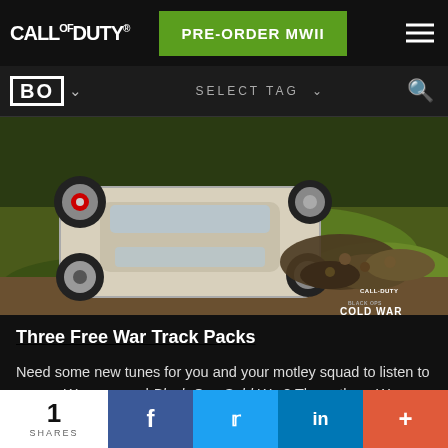CALL OF DUTY® | PRE-ORDER MWII
[Figure (screenshot): Call of Duty Black Ops Cold War in-game screenshot showing a white car being driven over soldiers on a grassy dirt terrain, with Call of Duty Black Ops Cold War logo watermark in the bottom right]
Three Free War Track Packs
Need some new tunes for you and your motley squad to listen to across Warzone and Black Ops Cold War? These three War Track packs can be the soundtrack to your